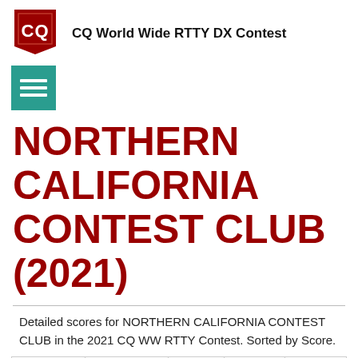CQ World Wide RTTY DX Contest
NORTHERN CALIFORNIA CONTEST CLUB (2021)
Detailed scores for NORTHERN CALIFORNIA CONTEST CLUB in the 2021 CQ WW RTTY Contest. Sorted by Score.
| Callsign | Category | Mode | Score ▼ | Opera… |
| --- | --- | --- | --- | --- |